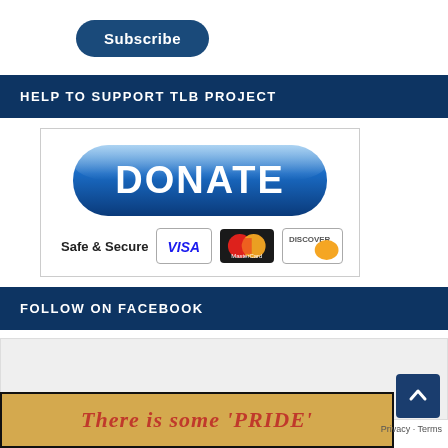[Figure (other): Subscribe button — dark blue rounded pill button with white text 'Subscribe']
HELP TO SUPPORT TLB PROJECT
[Figure (other): Donate button (large blue pill with white DONATE text) above Safe & Secure row with Visa, MasterCard, Discover card logos]
FOLLOW ON FACEBOOK
[Figure (other): Facebook embed placeholder box (light grey area)]
[Figure (other): Bottom partial banner — yellow/tan background with red italic text 'There is some 'PRIDE']
Privacy · Terms